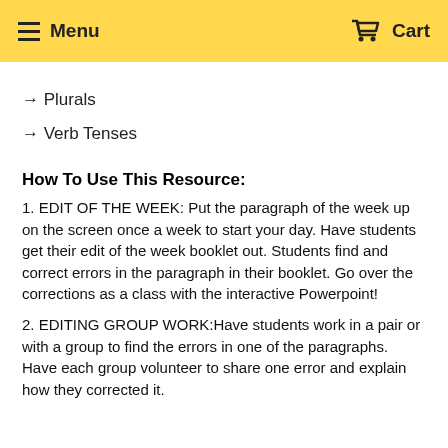Menu   Cart
→ Plurals
→ Verb Tenses
How To Use This Resource:
1. EDIT OF THE WEEK: Put the paragraph of the week up on the screen once a week to start your day. Have students get their edit of the week booklet out. Students find and correct errors in the paragraph in their booklet. Go over the corrections as a class with the interactive Powerpoint!
2. EDITING GROUP WORK:Have students work in a pair or with a group to find the errors in one of the paragraphs. Have each group volunteer to share one error and explain how they corrected it.